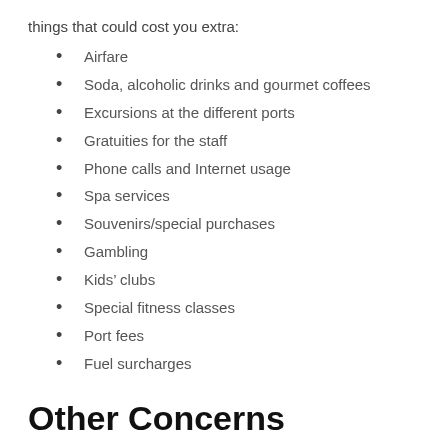things that could cost you extra:
Airfare
Soda, alcoholic drinks and gourmet coffees
Excursions at the different ports
Gratuities for the staff
Phone calls and Internet usage
Spa services
Souvenirs/special purchases
Gambling
Kids’ clubs
Special fitness classes
Port fees
Fuel surcharges
Other Concerns